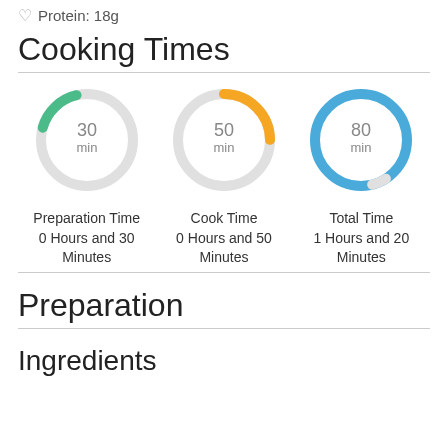Protein: 18g
Cooking Times
[Figure (donut-chart): Preparation Time 0 Hours and 30 Minutes]
[Figure (donut-chart): Cook Time 0 Hours and 50 Minutes]
[Figure (donut-chart): Total Time 1 Hours and 20 Minutes]
Preparation Time
0 Hours and 30
Minutes
Cook Time
0 Hours and 50
Minutes
Total Time
1 Hours and 20
Minutes
Preparation
Ingredients